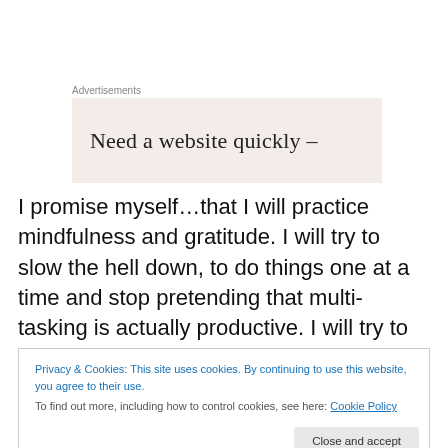Advertisements
[Figure (other): Advertisement banner with text 'Need a website quickly –']
I promise myself…that I will practice mindfulness and gratitude. I will try to slow the hell down, to do things one at a time and stop pretending that multi-tasking is actually productive. I will try to remember to taste the food that I eat, and be thankful that I have it. To be grateful for
Privacy & Cookies: This site uses cookies. By continuing to use this website, you agree to their use. To find out more, including how to control cookies, see here: Cookie Policy
'your choice' – to live from intention and not from habit.